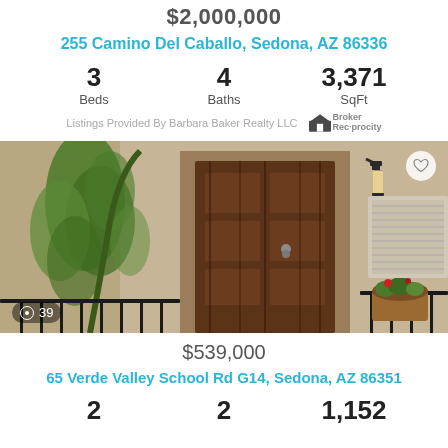$2,000,000
255 Camino Del Caballo, Sedona, AZ 86336
| Beds | Baths | SqFt |
| --- | --- | --- |
| 3 | 4 | 3,371 |
Listings Provided By Barbara Baker Realty LLC  Broker Reciprocity
[Figure (photo): Front entrance of a stucco home with a dark wood door, iron wall lantern, climbing green vines, potted flowers, and black iron railings. Photo count badge shows 39.]
$539,000
65 Verde Valley School Rd G14, Sedona, AZ 86351
| Beds | Baths | SqFt |
| --- | --- | --- |
| 2 | 2 | 1,152 |